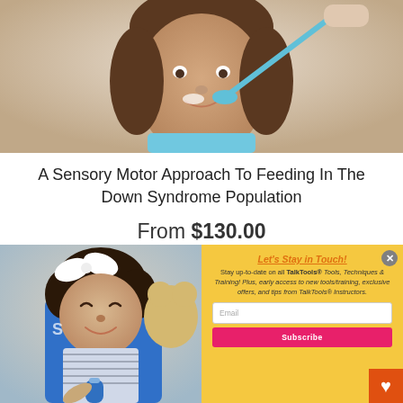[Figure (photo): Close-up photo of a young child with Down syndrome eating from a spoon held by an adult, wearing a blue bib]
A Sensory Motor Approach To Feeding In The Down Syndrome Population
From $130.00
[Figure (photo): Photo of a smiling baby/toddler with curly hair and a white bow, sitting in a blue high chair, wearing a striped outfit and holding a bottle]
Let's Stay in Touch! Stay up-to-date on all TalkTools® Tools, Techniques & Training! Plus, early access to new tools/training, exclusive offers, and tips from TalkTools® Instructors. Email Subscribe